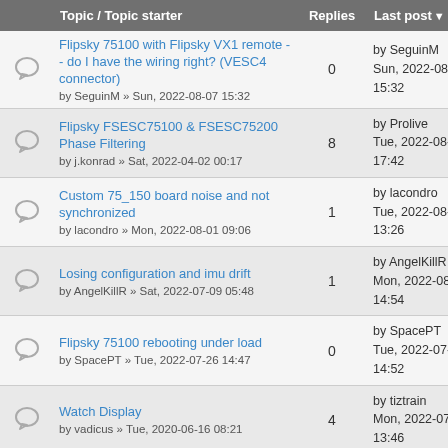|  | Topic / Topic starter | Replies | Last post |
| --- | --- | --- | --- |
|  | Flipsky 75100 with Flipsky VX1 remote - - do I have the wiring right? (VESC4 connector)
by SeguinM » Sun, 2022-08-07 15:32 | 0 | by SeguinM
Sun, 2022-08-07
15:32 |
|  | Flipsky FSESC75100 & FSESC75200 Phase Filtering
by j.konrad » Sat, 2022-04-02 00:17 | 8 | by Prolive
Tue, 2022-08-02
17:42 |
|  | Custom 75_150 board noise and not synchronized
by lacondro » Mon, 2022-08-01 09:06 | 1 | by lacondro
Tue, 2022-08-02
13:26 |
|  | Losing configuration and imu drift
by AngelKillR » Sat, 2022-07-09 05:48 | 1 | by AngelKillR
Mon, 2022-08-01
14:54 |
|  | Flipsky 75100 rebooting under load
by SpacePT » Tue, 2022-07-26 14:47 | 0 | by SpacePT
Tue, 2022-07-26
14:52 |
|  | Watch Display
by vadicus » Tue, 2020-06-16 08:21 | 4 | by tiztrain
Mon, 2022-07-25
13:46 |
|  | FSESC running rough recently
by oger » Sat, 2022-06-25 15:35 | 2 | by oger
Thu, 2022-07-21
21:07 |